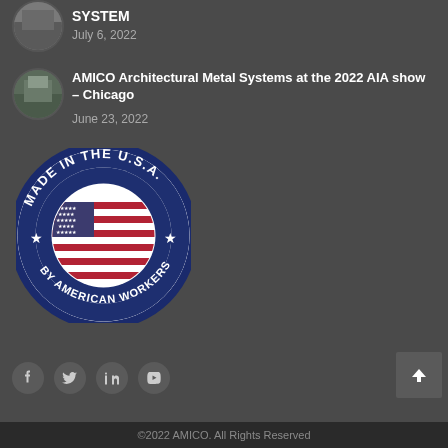[Figure (photo): Circular thumbnail photo of a building/structure]
SYSTEM
July 6, 2022
[Figure (photo): Circular thumbnail photo of an architectural display]
AMICO Architectural Metal Systems at the 2022 AIA show – Chicago
June 23, 2022
[Figure (logo): Made in the U.S.A. by American Workers circular badge with American flag]
[Figure (other): Social media icons row: Facebook, Twitter, LinkedIn, YouTube]
©2022 AMICO. All Rights Reserved